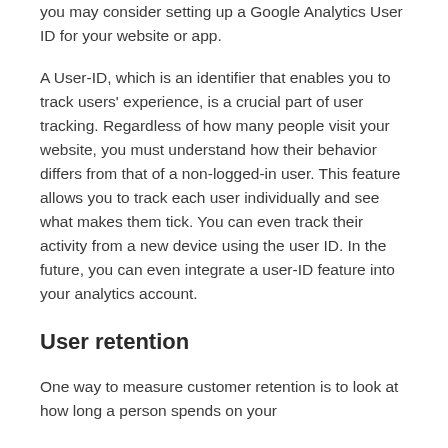you may consider setting up a Google Analytics User ID for your website or app.
A User-ID, which is an identifier that enables you to track users' experience, is a crucial part of user tracking. Regardless of how many people visit your website, you must understand how their behavior differs from that of a non-logged-in user. This feature allows you to track each user individually and see what makes them tick. You can even track their activity from a new device using the user ID. In the future, you can even integrate a user-ID feature into your analytics account.
User retention
One way to measure customer retention is to look at how long a person spends on your